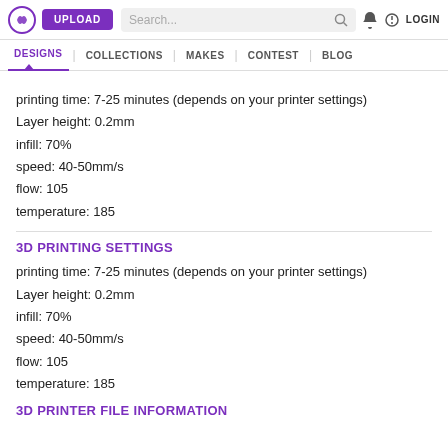UPLOAD | Search... | LOGIN
DESIGNS | COLLECTIONS | MAKES | CONTEST | BLOG
printing time: 7-25 minutes (depends on your printer settings)
Layer height: 0.2mm
infill: 70%
speed: 40-50mm/s
flow: 105
temperature: 185
3D PRINTING SETTINGS
printing time: 7-25 minutes (depends on your printer settings)
Layer height: 0.2mm
infill: 70%
speed: 40-50mm/s
flow: 105
temperature: 185
3D PRINTER FILE INFORMATION